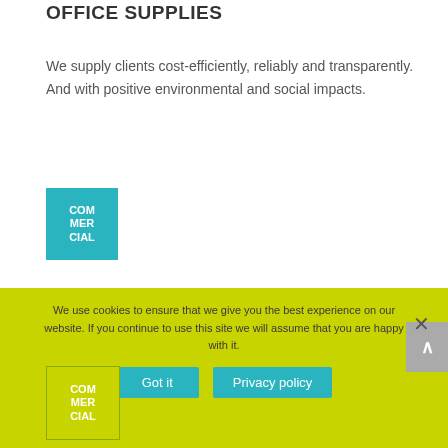OFFICE SUPPLIES
We supply clients cost-efficiently, reliably and transparently. And with positive environmental and social impacts.
[Figure (logo): Commercial logo: teal/cyan square with white text COM MER CIAL]
Intelligent infrastructure management
MANAGED IT
We help clients explore different options for cloud and then build solutions to complement their existing infrastructure.
[Figure (logo): Commercial logo on yellow-green background]
We use cookies to ensure that we give you the best experience on our website. If you continue to use this site we will assume that you are happy with it.